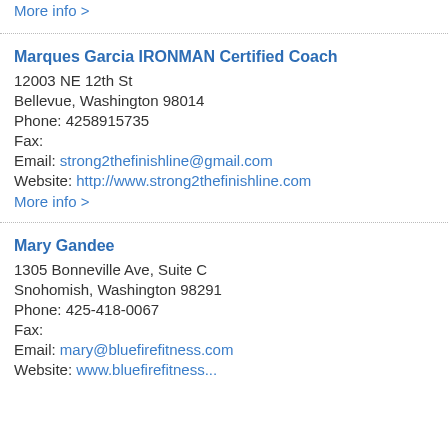More info >
Marques Garcia IRONMAN Certified Coach
12003 NE 12th St
Bellevue, Washington 98014
Phone: 4258915735
Fax:
Email: strong2thefinishline@gmail.com
Website: http://www.strong2thefinishline.com
More info >
Mary Gandee
1305 Bonneville Ave, Suite C
Snohomish, Washington 98291
Phone: 425-418-0067
Fax:
Email: mary@bluefirefitness.com
Website: www.bluefirefitness...